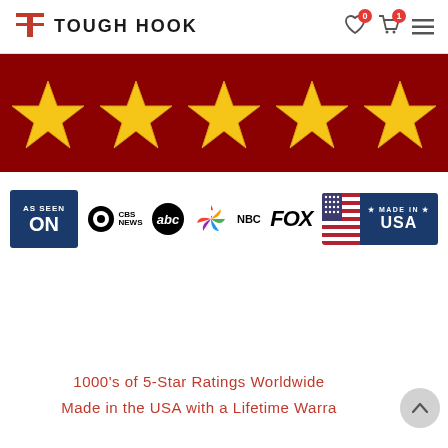TOUGH HOOK
[Figure (illustration): Five gold stars on a dark red/maroon banner background]
[Figure (logo): As Seen On: CBS News, ABC, NBC, FOX logos strip, followed by Made in USA badge with American flag]
1000's of 5-Star Ratings Worldwide
Made in the USA with a Lifetime Warra...